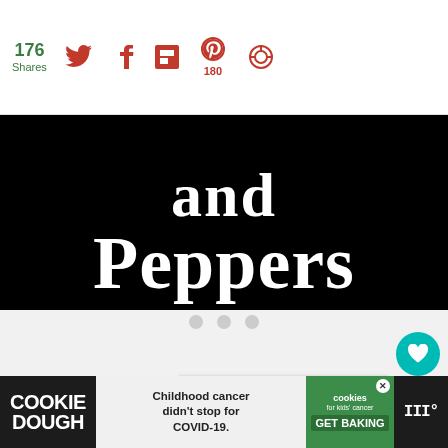176 Shares
and Peppers
[Figure (screenshot): Loading indicator with three gray dots]
[Figure (infographic): Floating teal heart button and share button on right side]
[Figure (infographic): What's Next card with thumbnail: Homemade Sausage an...]
[Figure (infographic): Advertisement banner: Cookie Dough - Childhood cancer didn't stop for COVID-19. Cookies for kids' cancer GET BAKING]